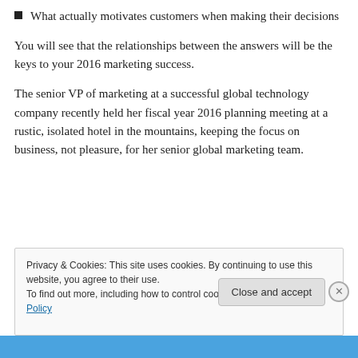What actually motivates customers when making their decisions
You will see that the relationships between the answers will be the keys to your 2016 marketing success.
The senior VP of marketing at a successful global technology company recently held her fiscal year 2016 planning meeting at a rustic, isolated hotel in the mountains, keeping the focus on business, not pleasure, for her senior global marketing team.
Privacy & Cookies: This site uses cookies. By continuing to use this website, you agree to their use.
To find out more, including how to control cookies, see here: Cookie Policy